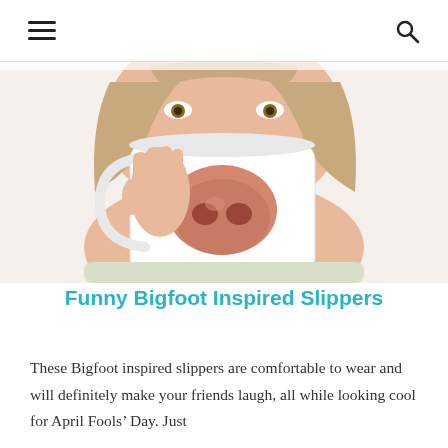≡  🔍
[Figure (photo): Woman holding a white novelty mug with a pig snout printed on the inside bottom, covering her lower face, appearing to have a pig nose. White background.]
Funny Bigfoot Inspired Slippers
These Bigfoot inspired slippers are comfortable to wear and will definitely make your friends laugh, all while looking cool for April Fools' Day. Just